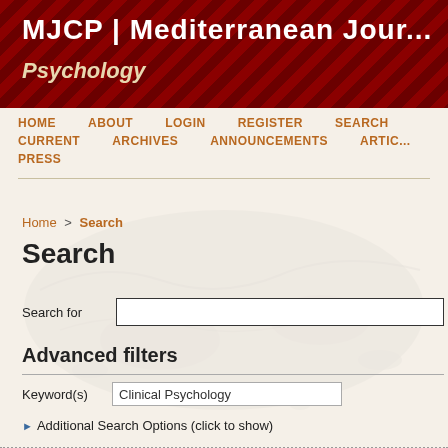MJCP | Mediterranean Jour... Psychology
HOME  ABOUT  LOGIN  REGISTER  SEARCH  CURRENT  ARCHIVES  ANNOUNCEMENTS  ARTIC... PRESS
Home > Search
Search
Search for
Advanced filters
Keyword(s)  Clinical Psychology
▶ Additional Search Options (click to show)
| ISSUE | TITLE | A |
| --- | --- | --- |
| Vol 8, No 1 (2020) | Postpartum Depression - | A |